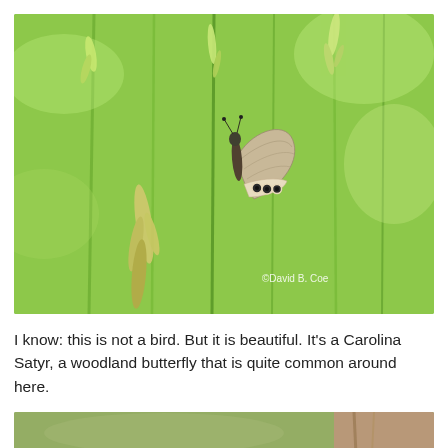[Figure (photo): A Carolina Satyr butterfly perched on grass stems in a green meadow setting. The butterfly has brown/tan wings with small black eyespots along the lower wing margin. Copyright watermark reads '©David B. Coe'.]
I know: this is not a bird. But it is beautiful. It's a Carolina Satyr, a woodland butterfly that is quite common around here.
[Figure (photo): Partial view of a second photo showing a blurred green and brown natural background, partially cropped at the bottom of the page.]